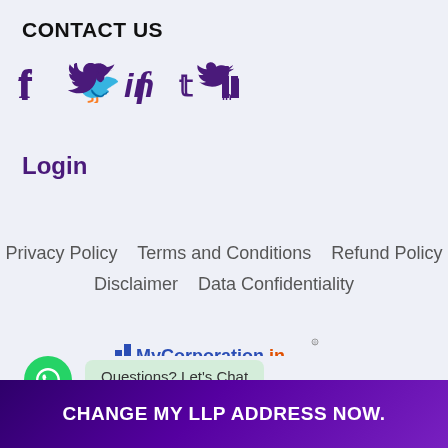CONTACT US
[Figure (illustration): Social media icons: Facebook, Twitter, LinkedIn in purple color]
Login
Privacy Policy   Terms and Conditions   Refund Policy   Disclaimer   Data Confidentiality
[Figure (logo): MyCorporation.in logo with bar chart icon and tagline 'Committed To Your Success']
[Figure (illustration): WhatsApp green circle button with chat bubble saying 'Questions? Let's Chat']
© Mycorporation 2013-2021 / All Rights Reserved -
CHANGE MY LLP ADDRESS NOW.